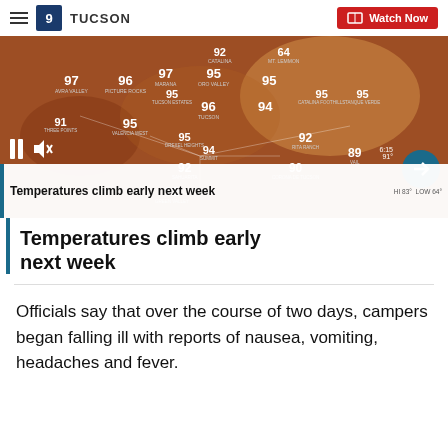9 TUCSON | Watch Now
[Figure (screenshot): Weather map of Tucson area showing temperature readings at various locations: 97 Avra Valley, 96 Picture Rocks, 97 Marana, 95 Oro Valley, 92 Catalina, 64 Mt. Lemmon, 95 (unlabeled), 95 Catalina Foothills, 95 Tanque Verde, 95 Tucson Estates, 96 Tucson, 94 (unlabeled), 95 Valencia West, 95 Drexel Heights, 94 Summit, 92 Rita Ranch, 91 Three Points, 89 Vail, 92 Sahuarita, 90 Corona de Tucson, 92 Green Valley, 91 (bottom)]
Temperatures climb early next week
Officials say that over the course of two days, campers began falling ill with reports of nausea, vomiting, headaches and fever.